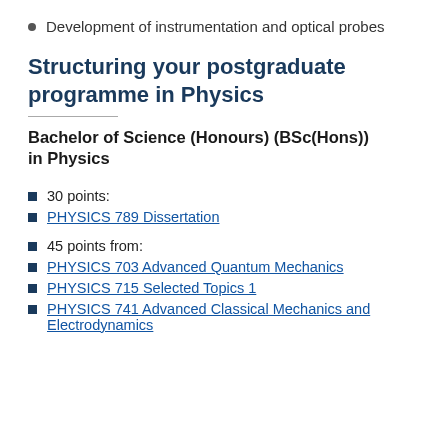Development of instrumentation and optical probes
Structuring your postgraduate programme in Physics
Bachelor of Science (Honours) (BSc(Hons)) in Physics
30 points:
PHYSICS 789 Dissertation
45 points from:
PHYSICS 703 Advanced Quantum Mechanics
PHYSICS 715 Selected Topics 1
PHYSICS 741 Advanced Classical Mechanics and Electrodynamics